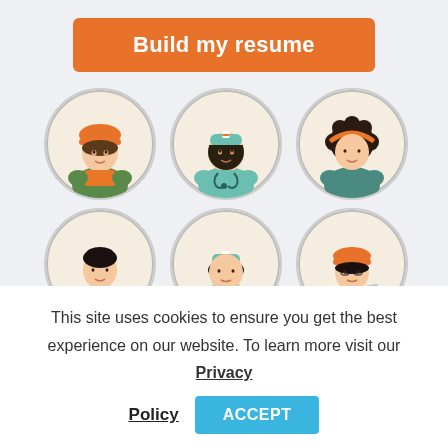Build my resume
[Figure (illustration): Six circular avatar illustrations of professionals: construction worker with orange helmet, nurse with teal cap and stethoscope, woman with curly hair and headphones/teal outfit, young man in teal suit with tie, female nurse/doctor in teal cap and scrubs, male engineer with orange hard hat and blueprints]
This site uses cookies to ensure you get the best experience on our website. To learn more visit our Privacy Policy
ACCEPT